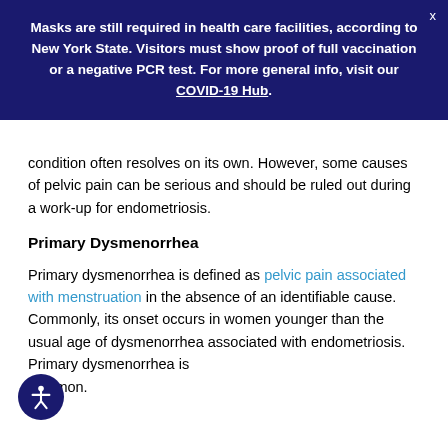Masks are still required in health care facilities, according to New York State. Visitors must show proof of full vaccination or a negative PCR test. For more general info, visit our COVID-19 Hub.
condition often resolves on its own. However, some causes of pelvic pain can be serious and should be ruled out during a work-up for endometriosis.
Primary Dysmenorrhea
Primary dysmenorrhea is defined as pelvic pain associated with menstruation in the absence of an identifiable cause. Commonly, its onset occurs in women younger than the usual age of dysmenorrhea associated with endometriosis. Primary dysmenorrhea is common.